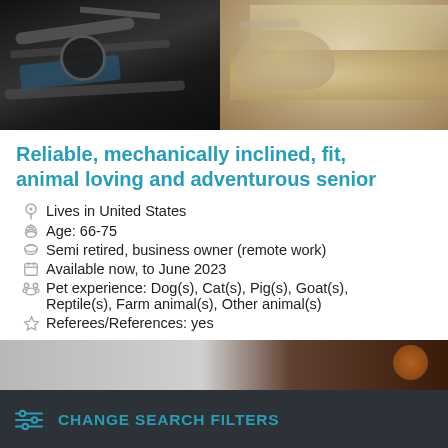[Figure (photo): Split photo banner: left side shows motorcycle handlebars/mechanical parts in dark tones; right side shows an elderly person's face with grey hair.]
Reliable, mechanically inclined, fit, animal loving and adventurous senior
Lives in United States
Age: 66-75
Semi retired, business owner (remote work)
Available now, to June 2023
Pet experience: Dog(s), Cat(s), Pig(s), Goat(s), Reptile(s), Farm animal(s), Other animal(s)
Referees/References: yes
[Figure (photo): Partial photo at bottom showing what appears to be an animal with an orange ball.]
CHANGE SEARCH FILTERS